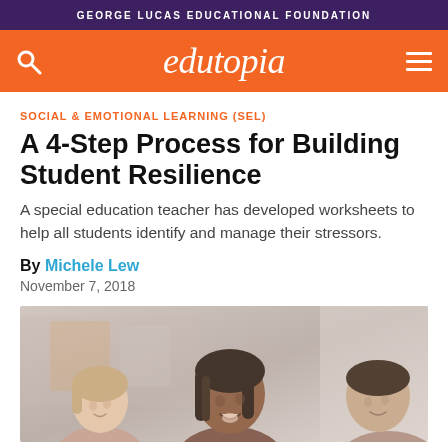GEORGE LUCAS EDUCATIONAL FOUNDATION
[Figure (logo): Edutopia orange navigation bar with search icon, edutopia logo in white italic serif font, and hamburger menu icon]
SOCIAL & EMOTIONAL LEARNING (SEL)
A 4-Step Process for Building Student Resilience
A special education teacher has developed worksheets to help all students identify and manage their stressors.
By Michele Lew
November 7, 2018
[Figure (photo): Photo of three students talking and smiling, one girl with dark hair in braids in the center looking up, another girl on the left, and a boy on the right]